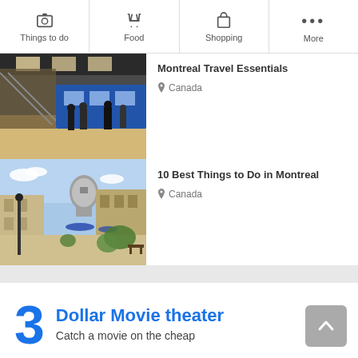Things to do | Food | Shopping | More
[Figure (photo): Montreal subway/metro station interior with escalators and people walking]
Montreal Travel Essentials
Canada
[Figure (photo): Old Montreal street scene with historic stone buildings and domed basilica]
10 Best Things to Do in Montreal
Canada
3 Dollar Movie theater
Catch a movie on the cheap